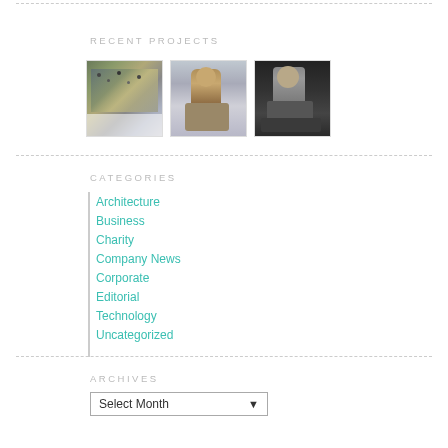RECENT PROJECTS
[Figure (photo): Three thumbnail photos of people/events in a row]
CATEGORIES
Architecture
Business
Charity
Company News
Corporate
Editorial
Technology
Uncategorized
ARCHIVES
Select Month